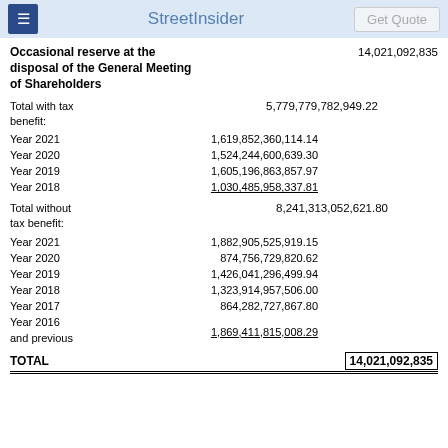StreetInsider | Get Quote
Occasional reserve at the disposal of the General Meeting of Shareholders	14,021,092,835
Total with tax benefit:	5,779,779,782,949.22
Year 2021	1,619,852,360,114.14
Year 2020	1,524,244,600,639.30
Year 2019	1,605,196,863,857.97
Year 2018	1,030,485,958,337.81
Total without tax benefit:	8,241,313,052,621.80
Year 2021	1,882,905,525,919.15
Year 2020	874,756,729,820.62
Year 2019	1,426,041,296,499.94
Year 2018	1,323,914,957,506.00
Year 2017	864,282,727,867.80
Year 2016 and previous	1,869,411,815,008.29
TOTAL	14,021,092,835